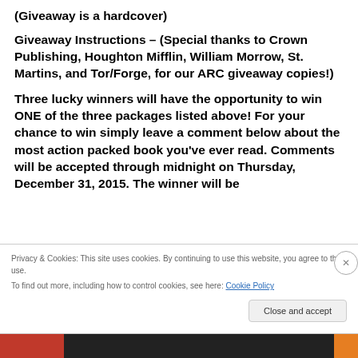(Giveaway is a hardcover)
Giveaway Instructions – (Special thanks to Crown Publishing, Houghton Mifflin, William Morrow, St. Martins, and Tor/Forge, for our ARC giveaway copies!)
Three lucky winners will have the opportunity to win ONE of the three packages listed above! For your chance to win simply leave a comment below about the most action packed book you've ever read. Comments will be accepted through midnight on Thursday, December 31, 2015. The winner will be
Privacy & Cookies: This site uses cookies. By continuing to use this website, you agree to their use. To find out more, including how to control cookies, see here: Cookie Policy
Close and accept